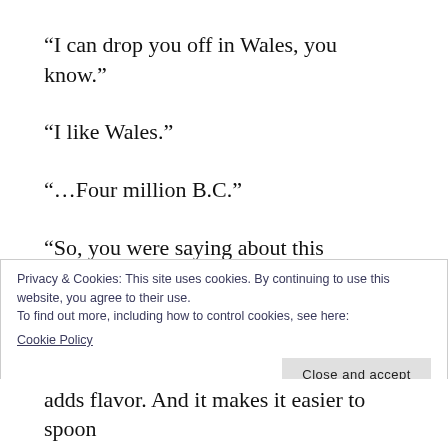“I can drop you off in Wales, you know.”
“I like Wales.”
“…Four million B.C.”
“So, you were saying about this delicious-looking bowl of…?”
“Chocolate chips in peanut butter.”
Privacy & Cookies: This site uses cookies. By continuing to use this website, you agree to their use.
To find out more, including how to control cookies, see here: Cookie Policy
Close and accept
adds flavor. And it makes it easier to spoon